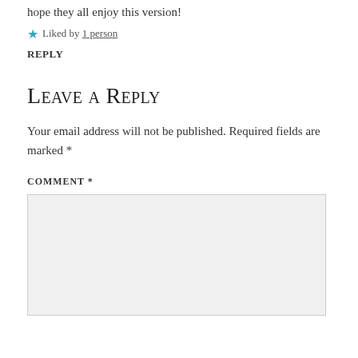hope they all enjoy this version!
★ Liked by 1 person
REPLY
Leave a Reply
Your email address will not be published. Required fields are marked *
COMMENT *
[Figure (other): Empty comment text area input box with light gray background]